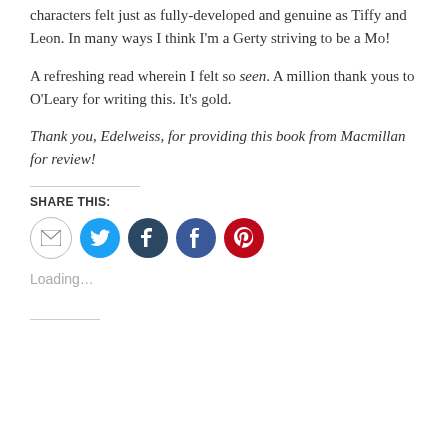characters felt just as fully-developed and genuine as Tiffy and Leon. In many ways I think I'm a Gerty striving to be a Mo!
A refreshing read wherein I felt so seen. A million thank yous to O'Leary for writing this. It's gold.
Thank you, Edelweiss, for providing this book from Macmillan for review!
Share this:
[Figure (infographic): Row of social sharing icon buttons: email (grey circle with envelope), Twitter (blue circle with bird), Tumblr (dark navy circle with t), Facebook (blue circle with f), Pinterest (red circle with P)]
Loading...